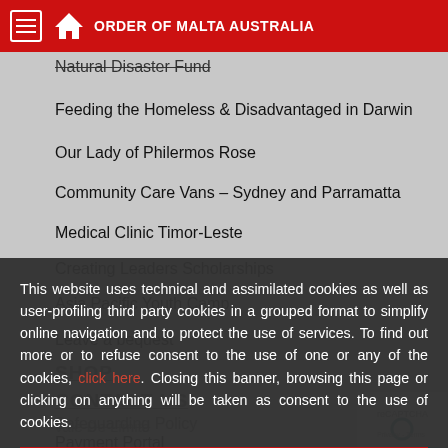ORDER OF MALTA AUSTRALIA
Natural Disaster Fund
Feeding the Homeless & Disadvantaged in Darwin
Our Lady of Philermos Rose
Community Care Vans – Sydney and Parramatta
Medical Clinic Timor-Leste
Creating Leaders Scholarships
Asia Pacific Youth Camp
Leave a bequest
SHOP
CONTACT US
Safeguarding Policy
Payment Portal
This website uses technical and assimilated cookies as well as user-profiling third party cookies in a grouped format to simplify online navigation and to protect the use of services. To find out more or to refuse consent to the use of one or any of the cookies, click here. Closing this banner, browsing this page or clicking on anything will be taken as consent to the use of cookies.
Close